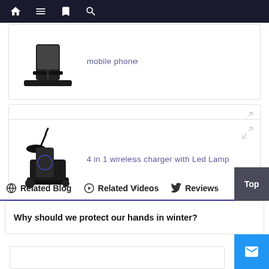Navigation bar with home, menu, bookmarks, and search icons
[Figure (photo): Black mobile phone holder/stand product image]
mobile phone
[Figure (photo): 15w Fast Wireless Charger 3-in-1 charging stand product image showing black and white chargers]
15w Fast Wireless Charger 3 In 1 Wireless Charging Stand For Iphone For Airpods For Iwatch
[Figure (photo): 4 in 1 wireless charger with LED lamp product image]
4 in 1 wireless charger with Led Lamp
Related Blog   Related Videos   Reviews
Why should we protect our hands in winter?